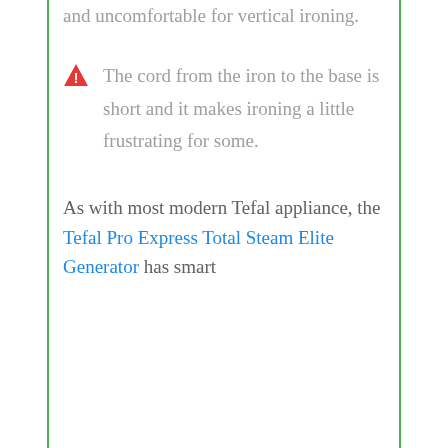0.00kg, making it hard and uncomfortable for vertical ironing.
The cord from the iron to the base is short and it makes ironing a little frustrating for some.
As with most modern Tefal appliance, the Tefal Pro Express Total Steam Elite Generator has smart